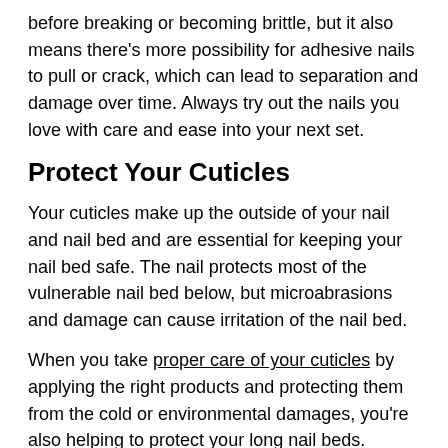before breaking or becoming brittle, but it also means there's more possibility for adhesive nails to pull or crack, which can lead to separation and damage over time. Always try out the nails you love with care and ease into your next set.
Protect Your Cuticles
Your cuticles make up the outside of your nail and nail bed and are essential for keeping your nail bed safe. The nail protects most of the vulnerable nail bed below, but microabrasions and damage can cause irritation of the nail bed.
When you take proper care of your cuticles by applying the right products and protecting them from the cold or environmental damages, you're also helping to protect your long nail beds.